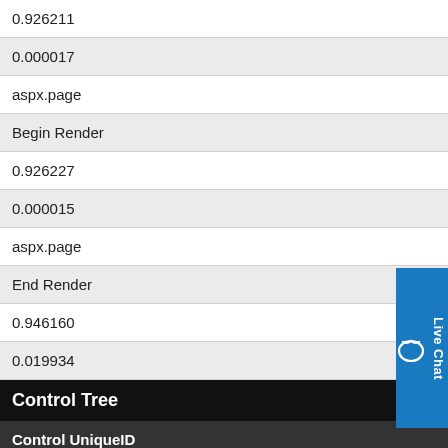0.926211
0.000017
aspx.page
Begin Render
0.926227
0.000015
aspx.page
End Render
0.946160
0.019934
Control Tree
| Control UniqueID | Type | Render Size Bytes (including children) | ViewState Size Bytes (excluding children) |
| --- | --- | --- | --- |